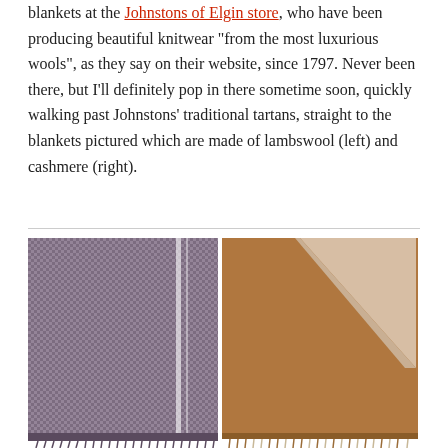blankets at the Johnstons of Elgin store, who have been producing beautiful knitwear "from the most luxurious wools", as they say on their website, since 1797. Never been there, but I'll definitely pop in there sometime soon, quickly walking past Johnstons' traditional tartans, straight to the blankets pictured which are made of lambswool (left) and cashmere (right).
[Figure (photo): Two blankets side by side: left is a purple/grey lambswool blanket with a textured woven pattern and white stripe detail with fringe at the bottom; right is a camel/tan cashmere blanket with a folded corner revealing a cream/off-white underside, with fringe at the bottom.]